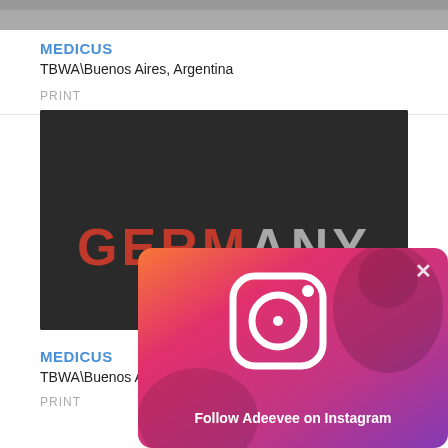[Figure (photo): Top portion of a dark advertisement image, cropped]
MEDICUS
TBWA\Buenos Aires, Argentina
PRINT
[Figure (photo): Dark background with letter magnets spelling GERMANY in red and white]
MEDICUS
TBWA\Buenos A
PRINT
[Figure (screenshot): Instagram follow popup overlay with monkey background, showing Instagram logo and text 'Follow Adeevee on Instagram' with an X close button]